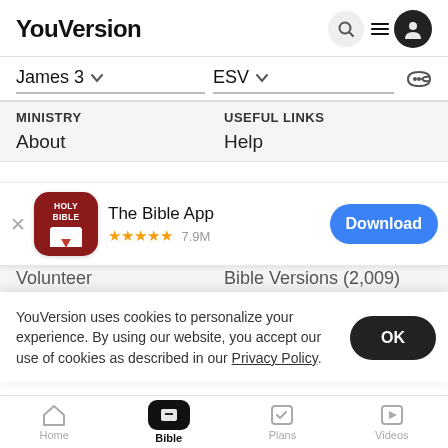YouVersion
James 3   ESV
MINISTRY   USEFUL LINKS
About   Help
[Figure (screenshot): The Bible App banner with Holy Bible icon, 5 star rating 7.9M reviews, and Download button]
Volunteer   Bible Versions (2,009)
YouVersion uses cookies to personalize your experience. By using our website, you accept our use of cookies as described in our Privacy Policy.
Blog   Verse of the Day
Press
Home   Bible   Plans   Videos